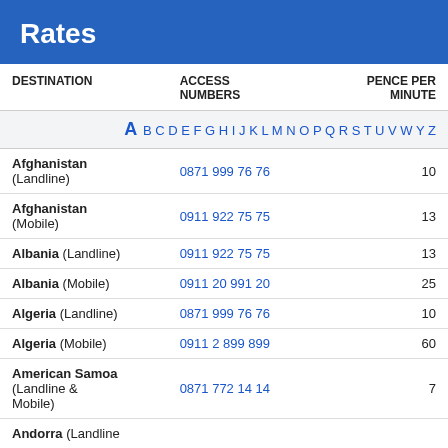Rates
| DESTINATION | ACCESS NUMBERS | PENCE PER MINUTE |
| --- | --- | --- |
| Afghanistan (Landline) | 0871 999 76 76 | 10 |
| Afghanistan (Mobile) | 0911 922 75 75 | 13 |
| Albania (Landline) | 0911 922 75 75 | 13 |
| Albania (Mobile) | 0911 20 991 20 | 25 |
| Algeria (Landline) | 0871 999 76 76 | 10 |
| Algeria (Mobile) | 0911 2 899 899 | 60 |
| American Samoa (Landline & Mobile) | 0871 772 14 14 | 7 |
| Andorra (Landline |  |  |